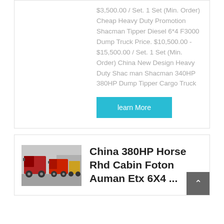$3,500.00 / Set. 1 Set (Min. Order) Cheap Heavy Duty Promotion Shacman Tipper Diesel 6*4 F3000 Dump Truck Price. $10,500.00 - $15,500.00 / Set. 1 Set (Min. Order) China New Design Heavy Duty Shacman Shacman 340HP 380HP Dump Tipper Cargo Truck
learn More
[Figure (photo): Photo of trucks from behind in a yard/parking area]
China 380HP Horse Rhd Cabin Foton Auman Etx 6X4 ...